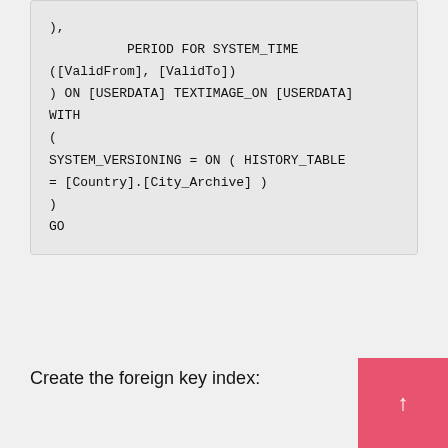),
            PERIOD FOR SYSTEM_TIME
([ValidFrom], [ValidTo])
) ON [USERDATA] TEXTIMAGE_ON [USERDATA]
WITH
(
SYSTEM_VERSIONING = ON ( HISTORY_TABLE
= [Country].[City_Archive] )
)
GO
Create the foreign key index: